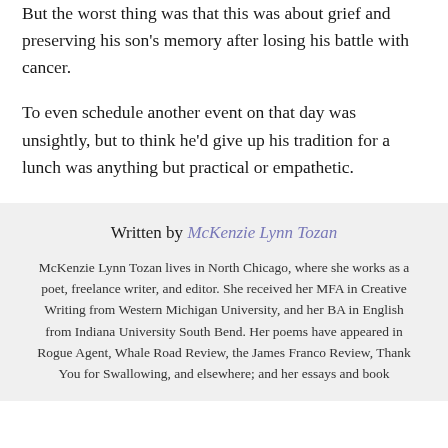But the worst thing was that this was about grief and preserving his son's memory after losing his battle with cancer.
To even schedule another event on that day was unsightly, but to think he'd give up his tradition for a lunch was anything but practical or empathetic.
Written by McKenzie Lynn Tozan
McKenzie Lynn Tozan lives in North Chicago, where she works as a poet, freelance writer, and editor. She received her MFA in Creative Writing from Western Michigan University, and her BA in English from Indiana University South Bend. Her poems have appeared in Rogue Agent, Whale Road Review, the James Franco Review, Thank You for Swallowing, and elsewhere; and her essays and book